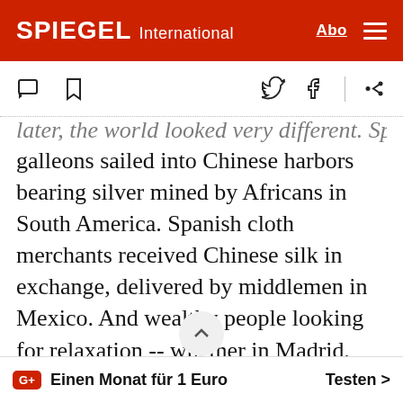SPIEGEL International
later, the world looked very different. Spanish galleons sailed into Chinese harbors bearing silver mined by Africans in South America. Spanish cloth merchants received Chinese silk in exchange, delivered by middlemen in Mexico. And wealthy people looking for relaxation -- whether in Madrid, Mecca or Manila -- lit up tobacco leaves imported from the Americas.
G+ Einen Monat für 1 Euro  Testen >